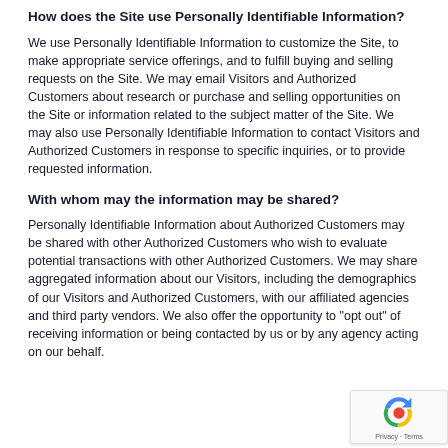How does the Site use Personally Identifiable Information?
We use Personally Identifiable Information to customize the Site, to make appropriate service offerings, and to fulfill buying and selling requests on the Site. We may email Visitors and Authorized Customers about research or purchase and selling opportunities on the Site or information related to the subject matter of the Site. We may also use Personally Identifiable Information to contact Visitors and Authorized Customers in response to specific inquiries, or to provide requested information.
With whom may the information may be shared?
Personally Identifiable Information about Authorized Customers may be shared with other Authorized Customers who wish to evaluate potential transactions with other Authorized Customers. We may share aggregated information about our Visitors, including the demographics of our Visitors and Authorized Customers, with our affiliated agencies and third party vendors. We also offer the opportunity to "opt out" of receiving information or being contacted by us or by any agency acting on our behalf.